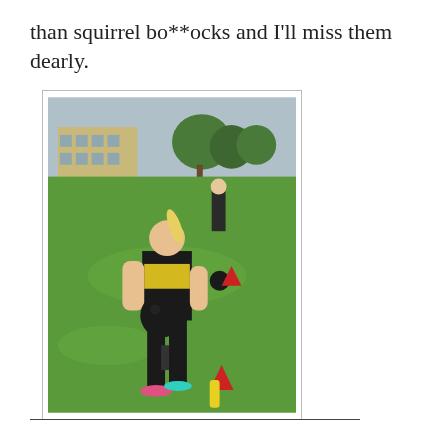than squirrel bo**ocks and I'll miss them dearly.
[Figure (photo): Outdoor fitness photo showing a woman in black workout clothes and yellow sports bra holding a dark medicine ball on a green grass field. Red cones and another ball are visible on the grass. A second person is visible in the background. A school building is visible behind them.]
___